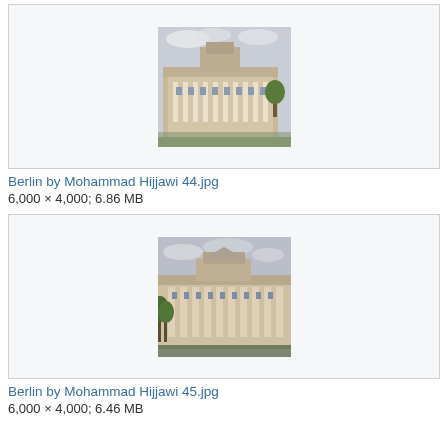[Figure (photo): Photo of Berlin Reichstag building at angle, overcast sky, classical architecture]
Berlin by Mohammad Hijjawi 44.jpg
6,000 × 4,000; 6.86 MB
[Figure (photo): Photo of Berlin Reichstag building facade, columns visible, overcast sky]
Berlin by Mohammad Hijjawi 45.jpg
6,000 × 4,000; 6.46 MB